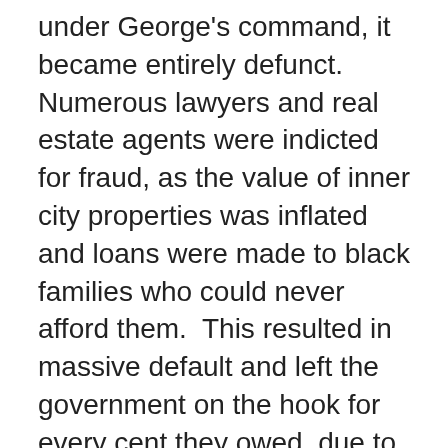under George's command, it became entirely defunct. Numerous lawyers and real estate agents were indicted for fraud, as the value of inner city properties was inflated and loans were made to black families who could never afford them.  This resulted in massive default and left the government on the hook for every cent they owed, due to lacking oversight on the part of HUD.  This other scandal was enough to end desegregation efforts and resembles the subprime crash that Obama inherited from Republicans years later.
George Romney also formed the National Recovery Administration.  Again it contained a few good principles like putting an end to child labour, but it was deemed unconstitutional for industry price fixing and issues of anti-